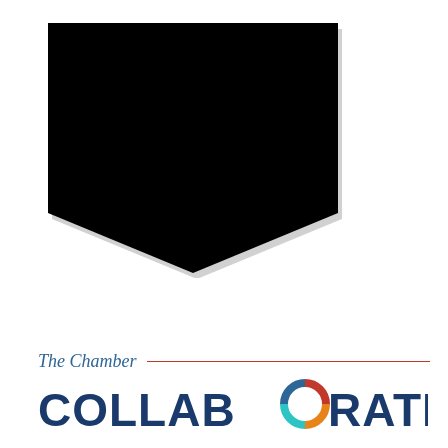[Figure (logo): Black shield/chevron shape — a solid black pentagon with a downward-pointing triangular notch at the bottom, resembling a shield or location pin, with a slight drop shadow.]
[Figure (logo): The Chamber Collaborative logo: italic blue text 'The Chamber' followed by a red horizontal rule, then large bold uppercase 'COLLABORATIVE' text in navy with a multicolor circle O replacing the 'O'.]